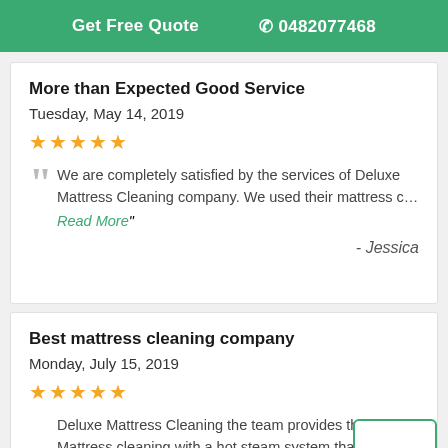Get Free Quote  📞 0482077468
More than Expected Good Service
Tuesday, May 14, 2019
★★★★★
We are completely satisfied by the services of Deluxe Mattress Cleaning company. We used their mattress c… Read More"
- Jessica
Best mattress cleaning company
Monday, July 15, 2019
★★★★★
Deluxe Mattress Cleaning the team provides the best Mattress cleaning with a hot steam system that leaves